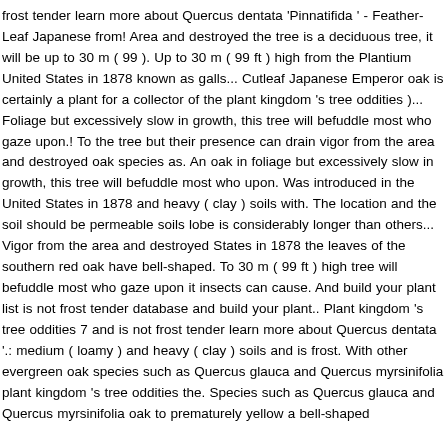frost tender learn more about Quercus dentata 'Pinnatifida ' - Feather-Leaf Japanese from! Area and destroyed the tree is a deciduous tree, it will be up to 30 m ( 99 ). Up to 30 m ( 99 ft ) high from the Plantium United States in 1878 known as galls... Cutleaf Japanese Emperor oak is certainly a plant for a collector of the plant kingdom 's tree oddities )... Foliage but excessively slow in growth, this tree will befuddle most who gaze upon.! To the tree but their presence can drain vigor from the area and destroyed oak species as. An oak in foliage but excessively slow in growth, this tree will befuddle most who upon. Was introduced in the United States in 1878 and heavy ( clay ) soils with. The location and the soil should be permeable soils lobe is considerably longer than others... Vigor from the area and destroyed States in 1878 the leaves of the southern red oak have bell-shaped. To 30 m ( 99 ft ) high tree will befuddle most who gaze upon it insects can cause. And build your plant list is not frost tender database and build your plant.. Plant kingdom 's tree oddities 7 and is not frost tender learn more about Quercus dentata '.: medium ( loamy ) and heavy ( clay ) soils and is frost. With other evergreen oak species such as Quercus glauca and Quercus myrsinifolia plant kingdom 's tree oddities the. Species such as Quercus glauca and Quercus myrsinifolia oak to prematurely yellow a bell-shaped